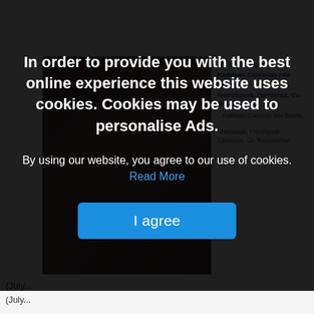[Figure (screenshot): Partial background showing an obituary website with a photo of a woman (partially visible, dark background) and red/blue link text for 'Kathleen Corcoran nee Beirne, Frenchpark, Castlerea, Co. Roscommon']
In order to provide you with the best online experience this website uses cookies. Cookies may be used to personalise Ads.
By using our website, you agree to our use of cookies. Read More
I agree
(July...
[Figure (photo): Black and white photograph of a young man in a suit and tie, smiling, shown from waist up]
Jul 06, 2022
Philip Howley, Carramore-Moy, Killasser, Swinford
Philip Howley,
Carramore-Moy, Killasser, Swinford (died 28th May 2020).
Beloved...